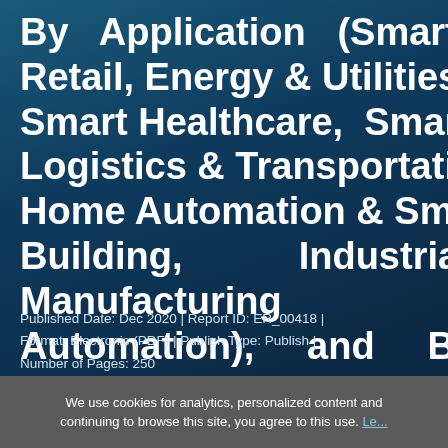By Application (Smart Retail, Energy & Utilities, Smart Healthcare, Smart Logistics & Transportation, Home Automation & Smart Building, Industrial Manufacturing Automation), and By Region, Forecasts to 2027
Published Date: Dec 2020 | Report ID: ER_00418 | Format: Electronic (PDF) | Publish Type: Publish | Number of Pages: 250
We use cookies for analytics, personalized content and continuing to browse this site, you agree to this use. Le...